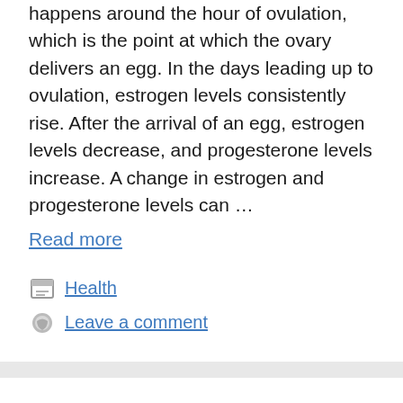happens around the hour of ovulation, which is the point at which the ovary delivers an egg. In the days leading up to ovulation, estrogen levels consistently rise. After the arrival of an egg, estrogen levels decrease, and progesterone levels increase. A change in estrogen and progesterone levels can …
Read more
Health
Leave a comment
Crooked Toes: Types, Treatment & Why My